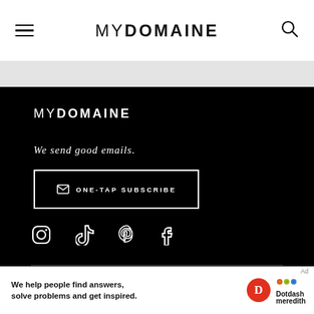MYDOMAINE
[Figure (logo): MyDomaine logo in black footer section]
We send good emails.
ONE-TAP SUBSCRIBE
[Figure (infographic): Social media icons: Instagram, TikTok, Pinterest, Facebook]
DESIGN & DÉCOR   ROOM IDEAS
OUTDOORS   REMODEL   LIFE AT HOME
We help people find answers, solve problems and get inspired.
[Figure (logo): Dotdash Meredith logo]